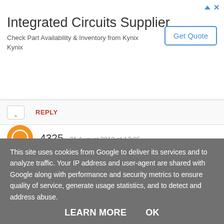[Figure (other): Advertisement banner for Integrated Circuits Supplier - Kynix with Get Quote button]
REPLY
4325  31 August 2012 at 17:05
Happy Birthday and I love your monkey that would be my choice.
REPLY
This site uses cookies from Google to deliver its services and to analyze traffic. Your IP address and user-agent are shared with Google along with performance and security metrics to ensure quality of service, generate usage statistics, and to detect and address abuse.
LEARN MORE    OK